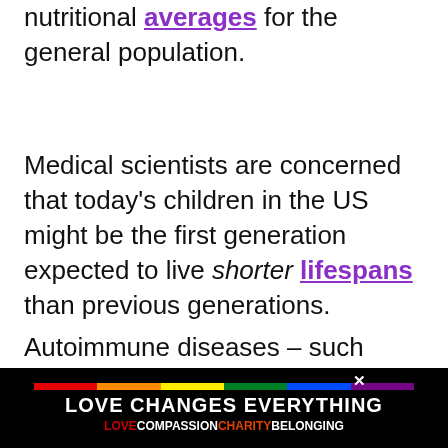nutritional averages for the general population.
Medical scientists are concerned that today's children in the US might be the first generation expected to live shorter lifespans than previous generations.
Autoimmune diseases – such as Alzheimer's, MS, osteoporosis, and diabetes (Type 1) – have become the third leading cause of death behind heart disease and c...
[Figure (other): Heart/like button (teal circle with heart icon) showing 68.2K count and a share button below]
[Figure (other): Advertisement banner: LOVE CHANGES EVERYTHING with rainbow bar and LOVECOMPASSIONCHARITYBELONGING text on black background]